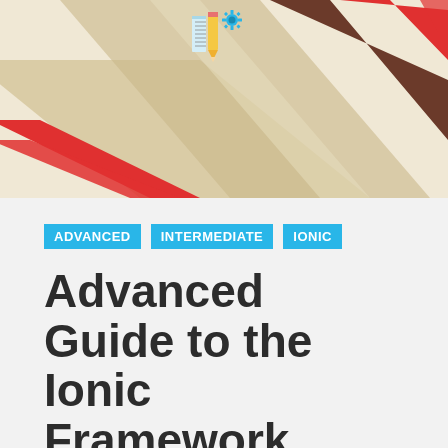[Figure (illustration): Decorative banner with diagonal stripes in red, beige, and dark brown, with a pixel-art icon of tools and a gear at the top center.]
ADVANCED   INTERMEDIATE   IONIC
Advanced Guide to the Ionic Framework
January 25, 2018  3 min read
This article contains a list of curated articles for Ionic developers that